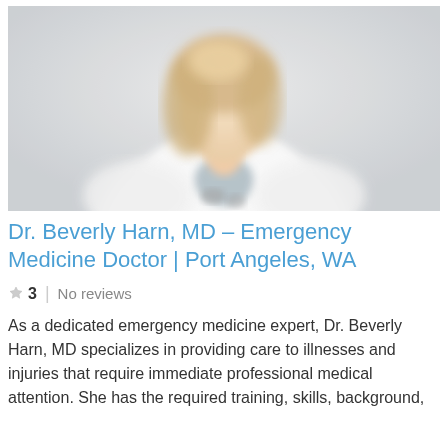[Figure (photo): Blurred photo of a female doctor wearing a white coat with a stethoscope, blonde hair, light gray background]
Dr. Beverly Harn, MD – Emergency Medicine Doctor | Port Angeles, WA
3  No reviews
As a dedicated emergency medicine expert, Dr. Beverly Harn, MD specializes in providing care to illnesses and injuries that require immediate professional medical attention. She has the required training, skills, background,